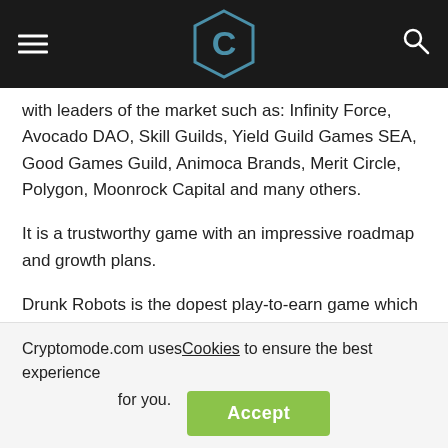CryptoMode logo header with hamburger menu and search icon
with leaders of the market such as: Infinity Force, Avocado DAO, Skill Guilds, Yield Guild Games SEA, Good Games Guild, Animoca Brands, Merit Circle, Polygon, Moonrock Capital and many others.
It is a trustworthy game with an impressive roadmap and growth plans.
Drunk Robots is the dopest play-to-earn game which will bring you to the abandoned city of Los Machines where robots gather gangs, buy weapons and useful parts and search for extra booze.
Cryptomode.com uses Cookies to ensure the best experience for you.